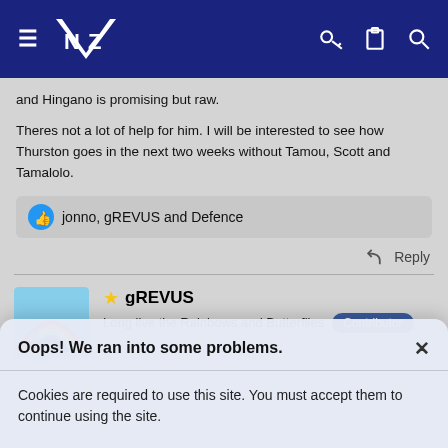Navigation bar with NZ logo, hamburger menu, key icon, clipboard icon, search icon
and Hingano is promising but raw.
Theres not a lot of help for him. I will be interested to see how Thurston goes in the next two weeks without Tamou, Scott and Tamalolo.
jonno, gREVUS and Defence
Reply
gREVUS
Long live the Rainbows and Butterflies  Contributor
Oops! We ran into some problems.
Cookies are required to use this site. You must accept them to continue using the site.